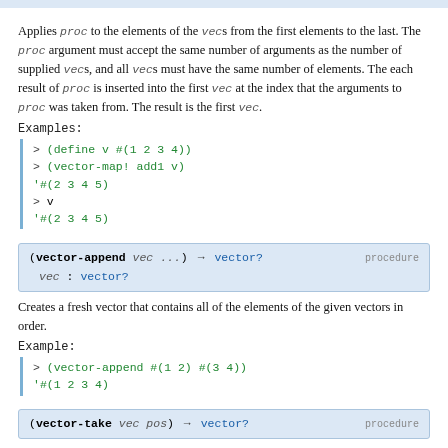Applies proc to the elements of the vecs from the first elements to the last. The proc argument must accept the same number of arguments as the number of supplied vecs, and all vecs must have the same number of elements. The each result of proc is inserted into the first vec at the index that the arguments to proc was taken from. The result is the first vec.
Examples:
> (define v #(1 2 3 4))
> (vector-map! add1 v)
'#(2 3 4 5)
> v
'#(2 3 4 5)
(vector-append vec ...) → vector?    procedure
  vec : vector?
Creates a fresh vector that contains all of the elements of the given vectors in order.
Example:
> (vector-append #(1 2) #(3 4))
'#(1 2 3 4)
(vector-take vec pos) → vector?    procedure